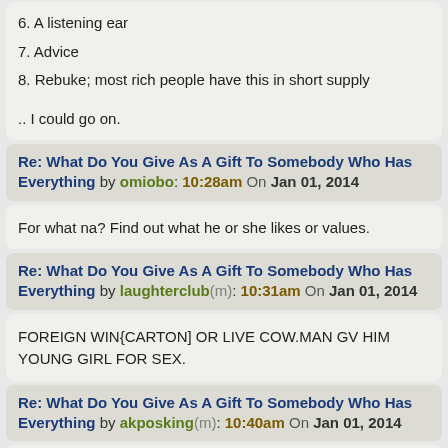6. A listening ear
7. Advice
8. Rebuke; most rich people have this in short supply
.. I could go on.
Re: What Do You Give As A Gift To Somebody Who Has Everything by omiobo: 10:28am On Jan 01, 2014
For what na? Find out what he or she likes or values.
Re: What Do You Give As A Gift To Somebody Who Has Everything by laughterclub(m): 10:31am On Jan 01, 2014
FOREIGN WIN{CARTON] OR LIVE COW.MAN GV HIM YOUNG GIRL FOR SEX.
Re: What Do You Give As A Gift To Somebody Who Has Everything by akposking(m): 10:40am On Jan 01, 2014
Does it matter.
Re: What Do You Give As A Gift To Somebody Who Has